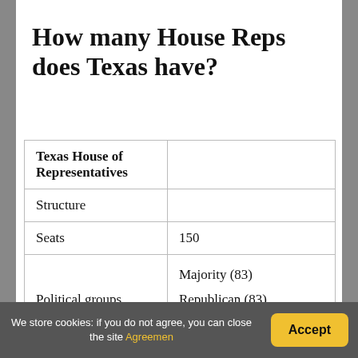How many House Reps does Texas have?
| Texas House of Representatives |  |
| Structure |  |
| Seats | 150 |
| Political groups | Majority (83)
Republican (83)
Minority (67) |
We store cookies: if you do not agree, you can close the site Agreement